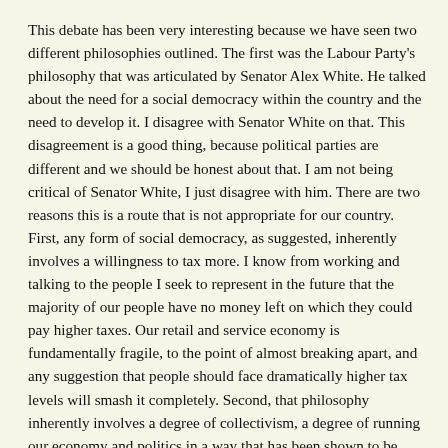This debate has been very interesting because we have seen two different philosophies outlined. The first was the Labour Party's philosophy that was articulated by Senator Alex White. He talked about the need for a social democracy within the country and the need to develop it. I disagree with Senator White on that. This disagreement is a good thing, because political parties are different and we should be honest about that. I am not being critical of Senator White, I just disagree with him. There are two reasons this is a route that is not appropriate for our country. First, any form of social democracy, as suggested, inherently involves a willingness to tax more. I know from working and talking to the people I seek to represent in the future that the majority of our people have no money left on which they could pay higher taxes. Our retail and service economy is fundamentally fragile, to the point of almost breaking apart, and any suggestion that people should face dramatically higher tax levels will smash it completely. Second, that philosophy inherently involves a degree of collectivism, a degree of running our economy and politics in a way that has been shown to be discredited. People will look to elect politicians to govern the country. They will want these politicians to talk to them and gain their consent and support. They want to elect people who will govern, and will reject any who cannot make decisions on their behalf. The dispersal of authority throughout our system has had disastrous consequences for our ability to look after our banks and our health system and it must come to an end.